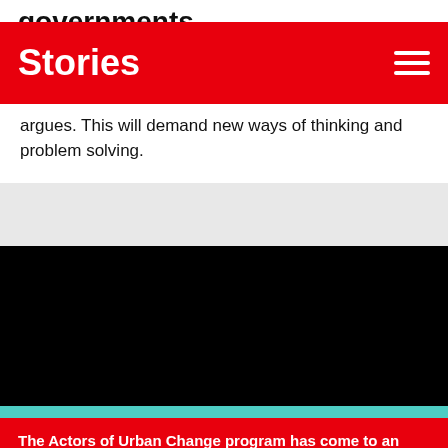governments
Stories
argues. This will demand new ways of thinking and problem solving.
[Figure (other): Black video player area]
The Actors of Urban Change program has come to an end. However, the community of urban practitioners lives on as a part of MitOst & the Bosch Alumni Network. Contact: community@actorsofurbanchange.org.